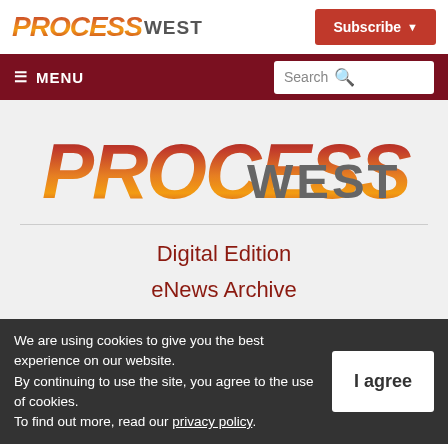[Figure (logo): Process West logo in top navigation bar]
[Figure (logo): Subscribe button with dropdown arrow]
≡ MENU
Search
[Figure (logo): Large Process West logo in content area]
Digital Edition
eNews Archive
We are using cookies to give you the best experience on our website. By continuing to use the site, you agree to the use of cookies. To find out more, read our privacy policy.